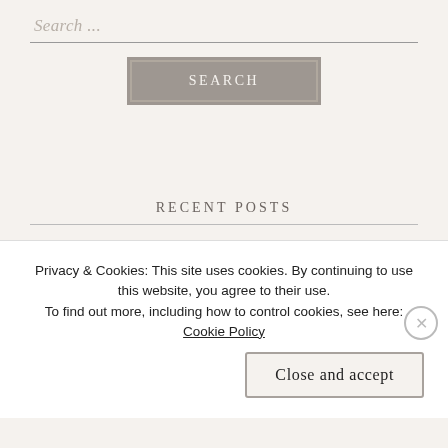Search ...
[Figure (screenshot): Search button — grey rectangular button with white uppercase text 'SEARCH']
RECENT POSTS
Wee Hiatus
Review – Dumbo
Privacy & Cookies: This site uses cookies. By continuing to use this website, you agree to their use. To find out more, including how to control cookies, see here: Cookie Policy
Close and accept